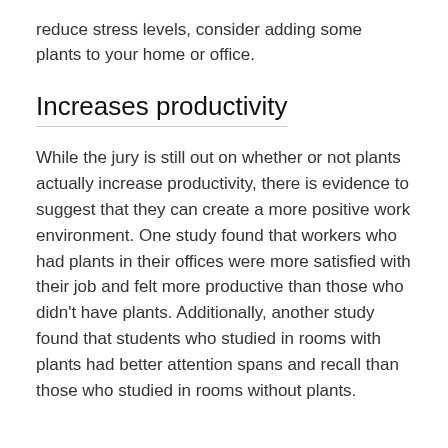reduce stress levels, consider adding some plants to your home or office.
Increases productivity
While the jury is still out on whether or not plants actually increase productivity, there is evidence to suggest that they can create a more positive work environment. One study found that workers who had plants in their offices were more satisfied with their job and felt more productive than those who didn't have plants. Additionally, another study found that students who studied in rooms with plants had better attention spans and recall than those who studied in rooms without plants.